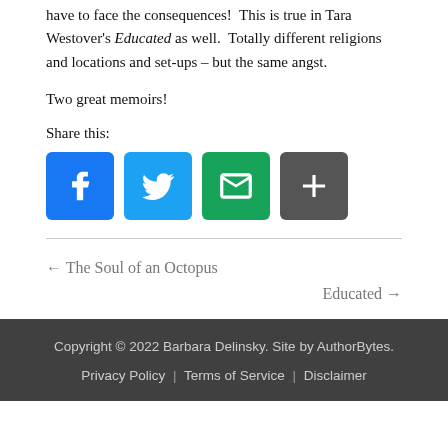have to face the consequences!  This is true in Tara Westover's Educated as well.  Totally different religions and locations and set-ups – but the same angst.
Two great memoirs!
Share this:
[Figure (other): Social sharing icons: Facebook, Twitter, Email, and More (plus sign)]
← The Soul of an Octopus
Educated →
Copyright © 2022 Barbara Delinsky. Site by AuthorBytes.
Privacy Policy | Terms of Service | Disclaimer